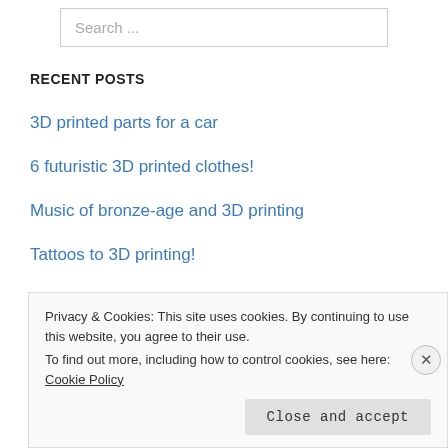Search ...
RECENT POSTS
3D printed parts for a car
6 futuristic 3D printed clothes!
Music of bronze-age and 3D printing
Tattoos to 3D printing!
Privacy & Cookies: This site uses cookies. By continuing to use this website, you agree to their use. To find out more, including how to control cookies, see here: Cookie Policy
Close and accept